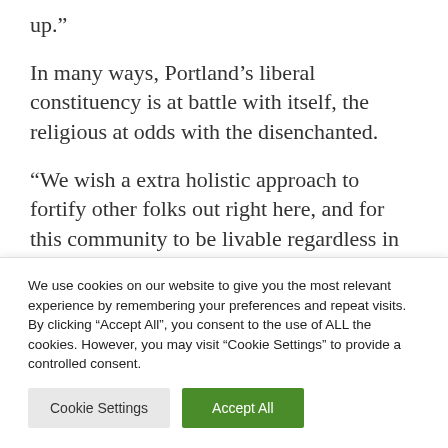up.”
In many ways, Portland’s liberal constituency is at battle with itself, the religious at odds with the disenchanted.
“We wish a extra holistic approach to fortify other folks out right here, and for this community to be livable regardless in case you are housed or unhoused.” mentioned
We use cookies on our website to give you the most relevant experience by remembering your preferences and repeat visits. By clicking “Accept All”, you consent to the use of ALL the cookies. However, you may visit “Cookie Settings” to provide a controlled consent.
Cookie Settings
Accept All